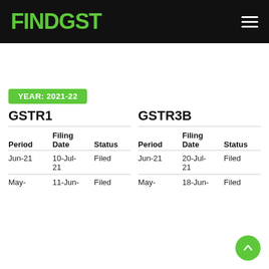FINDGST
YEAR: 2021-22
| Period | Filing Date | Status |
| --- | --- | --- |
| Jun-21 | 10-Jul-21 | Filed |
| May- | 11-Jun- | Filed |
| Period | Filing Date | Status |
| --- | --- | --- |
| Jun-21 | 20-Jul-21 | Filed |
| May- | 18-Jun- | Filed |